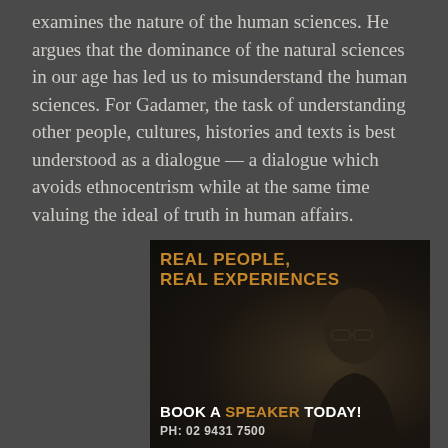examines the nature of the human sciences. He argues that the dominance of the natural sciences in our age has led us to misunderstand the human sciences. For Gadamer, the task of understanding other people, cultures, histories and texts is best understood as a dialogue — a dialogue which avoids ethnocentrism while at the same time valuing the ideal of truth in human affairs.
[Figure (illustration): Advertisement banner with dark background showing a person wearing glasses. Text reads 'REAL PEOPLE, REAL EXPERIENCES' in orange bold uppercase at the top left, and 'BOOK A SPEAKER TODAY!' at the bottom with 'SPEAKER' in orange. Phone number 'PH: 02 9431 7500' at bottom.]